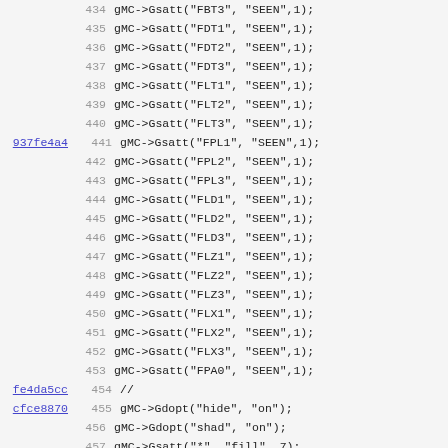Code listing lines 434-466 showing gMC->Gsatt, gMC->Gdopt, gMC->SetClipBox, gMC->DefaultRange, gMC->Gdraw, gMC->Gdhead, gMC->Gdman, gMC->Gdopt function calls with commit hashes 937fe4a4, fe4da5cc, cfce8870, fe4da5cc